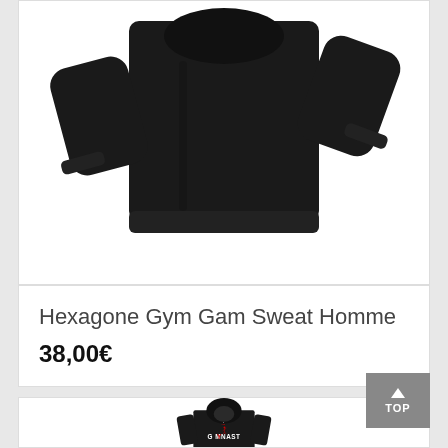[Figure (photo): Black hoodie/sweatshirt product photo on white background, top portion visible showing sleeves and body]
Hexagone Gym Gam Sweat Homme
38,00€
[Figure (photo): Black hoodie product photo showing hood and chest area with 'I AM GYMNAST' text printed on front in white and red]